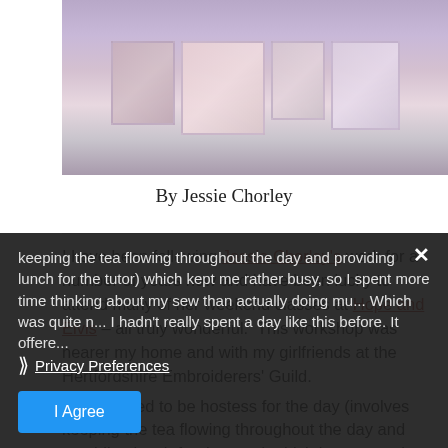[Figure (photo): Photo of colorful fabric patches/quilt pieces arranged on a purple background, partially visible at top of page]
By Jessie Chorley
I have been following Jessie Chorley's work for a number of years now and have been lucky to attend many of her weekend classes at Hope and Elvis – all truly wonderful.  This workshop was nearer my home and with my girlfriends at the Hertfordshire Embroiderers' Guild.
I had offered to be hostess for the day (involves keeping the tea flowing throughout the day and providing lunch for the tutor) which kept me rather busy, so I spent more time thinking about my sew than actually doing mu... Which was quite n... I hadn't really spent a day like this before. It offere...
Privacy Preferences
I Agree